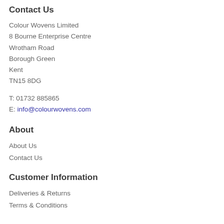Contact Us
Colour Wovens Limited
8 Bourne Enterprise Centre
Wrotham Road
Borough Green
Kent
TN15 8DG
T: 01732 885865
E: info@colourwovens.com
About
About Us
Contact Us
Customer Information
Deliveries & Returns
Terms & Conditions